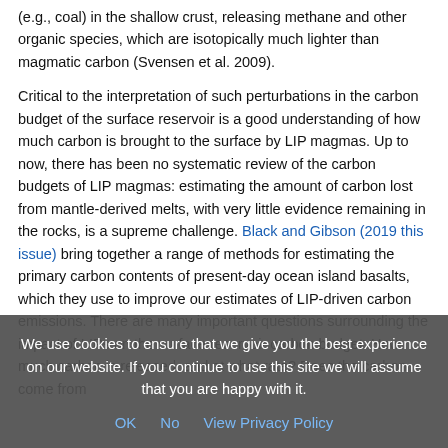(e.g., coal) in the shallow crust, releasing methane and other organic species, which are isotopically much lighter than magmatic carbon (Svensen et al. 2009).
Critical to the interpretation of such perturbations in the carbon budget of the surface reservoir is a good understanding of how much carbon is brought to the surface by LIP magmas. Up to now, there has been no systematic review of the carbon budgets of LIP magmas: estimating the amount of carbon lost from mantle-derived melts, with very little evidence remaining in the rocks, is a supreme challenge. Black and Gibson (2019 this issue) bring together a range of methods for estimating the primary carbon contents of present-day ocean island basalts, which they use to improve our estimates of LIP-driven carbon emissions. There are many important questions surrounding the impact of LIPs on the surface reservoir carbon budget. How much carbon is released, and at what rate? Does the carbon come from
We use cookies to ensure that we give you the best experience on our website. If you continue to use this site we will assume that you are happy with it.
OK   No   View Privacy Policy